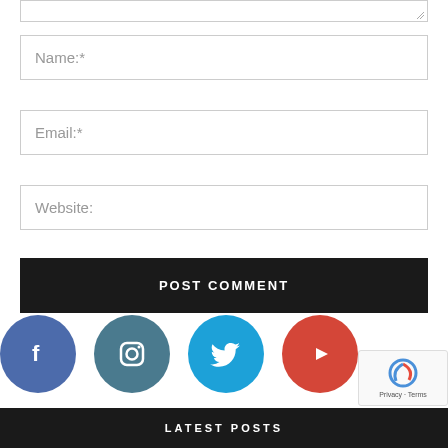[Figure (screenshot): Text area input field (partially visible at top with resize handle)]
Name:*
Email:*
Website:
POST COMMENT
[Figure (infographic): Four social media icon circles: Facebook (blue), Instagram (dark teal), Twitter (light blue), YouTube (red)]
LATEST POSTS